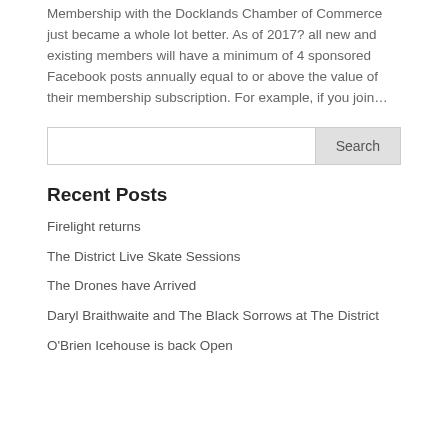Membership with the Docklands Chamber of Commerce just became a whole lot better. As of 2017? all new and existing members will have a minimum of 4 sponsored Facebook posts annually equal to or above the value of their membership subscription. For example, if you join…
Search
Recent Posts
Firelight returns
The District Live Skate Sessions
The Drones have Arrived
Daryl Braithwaite and The Black Sorrows at The District
O'Brien Icehouse is back Open